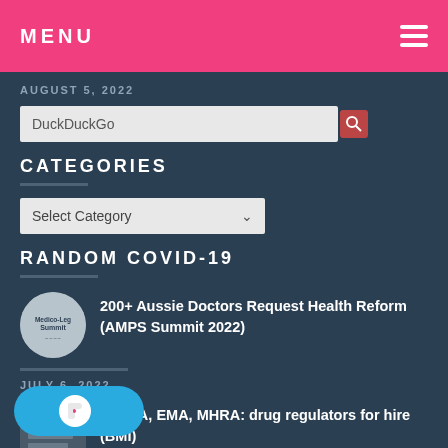MENU
AUGUST 5, 2022
DuckDuckGo
CATEGORIES
Select Category
RANDOM COVID-19
200+ Aussie Doctors Request Health Reform (AMPS Summit 2022)
JULY 6, 2022
A, FDA, EMA, MHRA: drug regulators for hire (BMI)